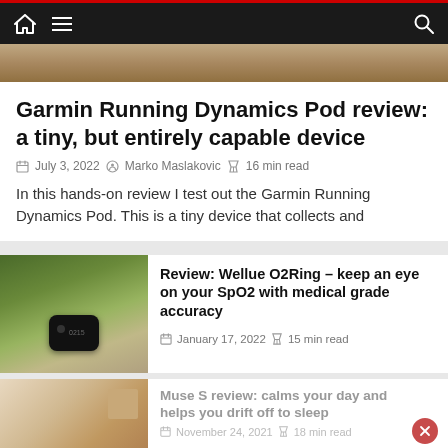Navigation bar with home, menu, and search icons
[Figure (photo): Partial top image of an article, appears to be an outdoor/nature scene]
Garmin Running Dynamics Pod review: a tiny, but entirely capable device
July 3, 2022 · Marko Maslakovic · 16 min read
In this hands-on review I test out the Garmin Running Dynamics Pod. This is a tiny device that collects and
[Figure (photo): Photo of the Wellue O2Ring device on a table with green plants in the background]
Review: Wellue O2Ring – keep an eye on your SpO2 with medical grade accuracy
January 17, 2022 · 15 min read
[Figure (photo): Partial photo of Muse S device]
Muse S review: calms your day and helps you drift off to sleep
November 24, 2021 · 18 min read